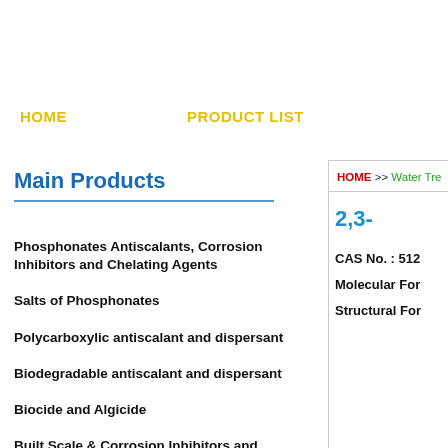HOME    PRODUCT LIST
Main Products
Phosphonates Antiscalants, Corrosion Inhibitors and Chelating Agents
Salts of Phosphonates
Polycarboxylic antiscalant and dispersant
Biodegradable antiscalant and dispersant
Biocide and Algicide
Built Scale & Corrosion Inhibitors and Pretreatment Filming Agents
HOME >> Water Tre...
2,3-...
CAS No. : 512...
Molecular For...
Structural For...